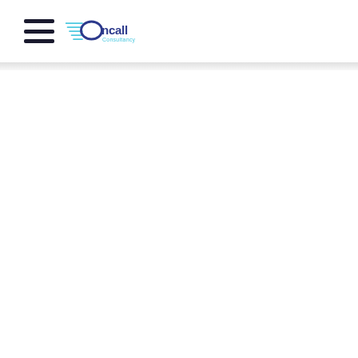[Figure (logo): Oncall Consultancy logo with hamburger menu icon on the left and the Oncall Consultancy logo mark and wordmark on the right. The logo features a circular swoosh shape in dark blue and teal, with 'ncall' in dark navy text and 'Consultancy' in teal below.]